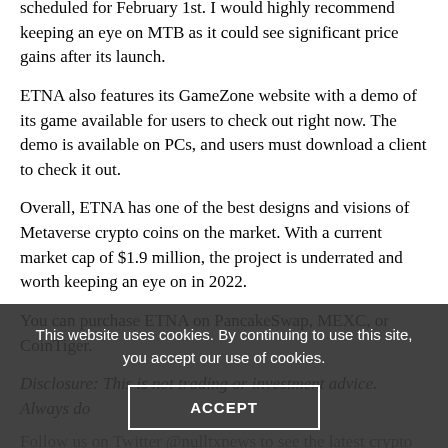scheduled for February 1st. I would highly recommend keeping an eye on MTB as it could see significant price gains after its launch.
ETNA also features its GameZone website with a demo of its game available for users to check out right now. The demo is available on PCs, and users must download a client to check it out.
Overall, ETNA has one of the best designs and visions of Metaverse crypto coins on the market. With a current market cap of $1.9 million, the project is underrated and worth keeping an eye on in 2022.
You can purchase ETNA on PancakeSwap, MEXC, or CoinTiger.
Disclosure: This is not trading or investment advice. Always do
Follow us on Twitter @nulltxnews to see the latest crypto news and disclaimer. Main site at nulltx.com
Image Source: Adobe...
This website uses cookies. By continuing to use this site, you accept our use of cookies.